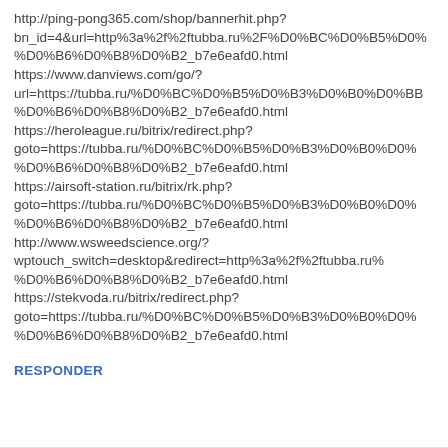http://ping-pong365.com/shop/bannerhit.php?bn_id=4&url=http%3a%2f%2ftubba.ru%2F%D0%BC%D0%B5%D0%B6%D0%B8%D0%B2_b7e6eafd0.html https://www.danviews.com/go/?url=https://tubba.ru/%D0%BC%D0%B5%D0%B3%D0%B0%D0%BB%D0%B6%D0%B8%D0%B2_b7e6eafd0.html https://heroleague.ru/bitrix/redirect.php?goto=https://tubba.ru/%D0%BC%D0%B5%D0%B3%D0%B0%D0%B6%D0%B8%D0%B2_b7e6eafd0.html https://airsoft-station.ru/bitrix/rk.php?goto=https://tubba.ru/%D0%BC%D0%B5%D0%B3%D0%B0%D0%B6%D0%B8%D0%B2_b7e6eafd0.html http://www.wsweedscience.org/?wptouch_switch=desktop&redirect=http%3a%2f%2ftubba.ru%%D0%B6%D0%B8%D0%B2_b7e6eafd0.html https://stekvoda.ru/bitrix/redirect.php?goto=https://tubba.ru/%D0%BC%D0%B5%D0%B3%D0%B0%D0%B6%D0%B8%D0%B2_b7e6eafd0.html
RESPONDER